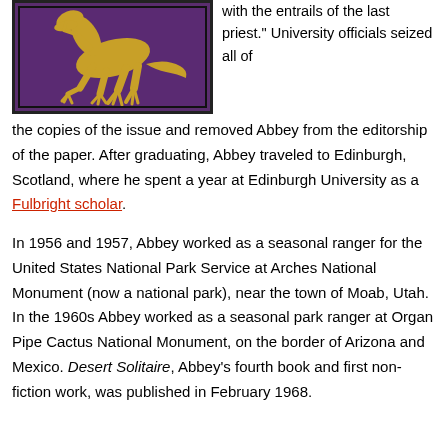[Figure (photo): A purple/maroon background with a gold-colored dinosaur (lizard-like creature) illustration, framed with a dark border.]
with the entrails of the last priest." University officials seized all of the copies of the issue and removed Abbey from the editorship of the paper. After graduating, Abbey traveled to Edinburgh, Scotland, where he spent a year at Edinburgh University as a Fulbright scholar.
In 1956 and 1957, Abbey worked as a seasonal ranger for the United States National Park Service at Arches National Monument (now a national park), near the town of Moab, Utah. In the 1960s Abbey worked as a seasonal park ranger at Organ Pipe Cactus National Monument, on the border of Arizona and Mexico. Desert Solitaire, Abbey's fourth book and first non-fiction work, was published in February 1968.